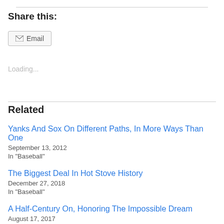Share this:
Email
Loading...
Related
Yanks And Sox On Different Paths, In More Ways Than One
September 13, 2012
In "Baseball"
The Biggest Deal In Hot Stove History
December 27, 2018
In "Baseball"
A Half-Century On, Honoring The Impossible Dream
August 17, 2017